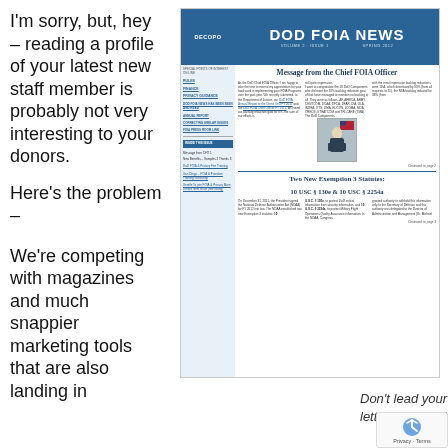I'm sorry, but, hey – reading a profile of your latest new staff member is probably not very interesting to your donors.
Here's the problem –
We're competing with magazines and much snappier marketing tools that are also landing in
[Figure (other): DOD FOIA News newsletter front page showing 'Message from the Chief FOIA Officer' and 'Two New Exemption 3 Statutes: 10 USC § 130e & 10 USC § 2254a']
Don't lead your newsletter with a formal letter from the head of your organization.